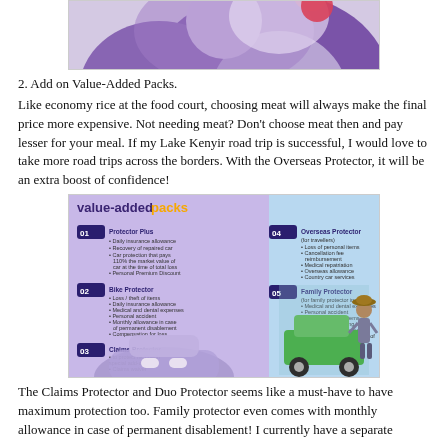[Figure (illustration): Top portion of an illustration showing a purple/violet abstract background with a cream/beige circular shape and a red dot, part of an insurance promotional image.]
2. Add on Value-Added Packs.
Like economy rice at the food court, choosing meat will always make the final price more expensive. Not needing meat? Don't choose meat then and pay lesser for your meal. If my Lake Kenyir road trip is successful, I would love to take more road trips across the borders. With the Overseas Protector, it will be an extra boost of confidence!
[Figure (infographic): Value-added packs infographic showing 5 numbered packs (01-05): 01 Protector Plus, 02 Bike Protector, 03 Claims Protector, 04 Overseas Protector, 05 Family Protector, with bullet point details and a person standing next to a green toy jeep on the right side.]
The Claims Protector and Duo Protector seems like a must-have to have maximum protection too. Family protector even comes with monthly allowance in case of permanent disablement! I currently have a separate